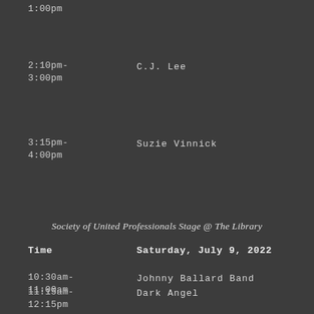1:00pm (cut off at top)
2:10pm-3:00pm   C.J. Lee
3:15pm-4:00pm   Suzie Vinnick
Society of United Professionals Stage @ The Library
| Time | Saturday, July 9, 2022 |
| --- | --- |
| 10:30am-11:00am | Johnny Ballard Band |
| 11:15am-12:15pm | Dark Angel |